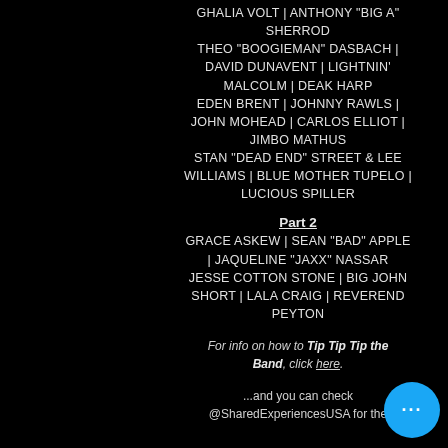GHALIA VOLT | ANTHONY "BIG A" SHERROD THEO "BOOGIEMAN" DASBACH | DAVID DUNAVENT | LIGHTNIN' MALCOLM | DEAK HARP EDEN BRENT | JOHNNY RAWLS | JOHN MOHEAD | CARLOS ELLIOT | JIMBO MATHUS STAN "DEAD END" STREET & LEE WILLIAMS | BLUE MOTHER TUPELO | LUCIOUS SPILLER
Part 2
GRACE ASKEW | SEAN "BAD" APPLE | JAQUELINE "JAXX" NASSAR JESSE COTTON STONE | BIG JOHN SHORT | LALA CRAIG | REVEREND PEYTON
For info on how to Tip Tip Tip the Band, click here.
...and you can check @SharedExperiencesUSA for the